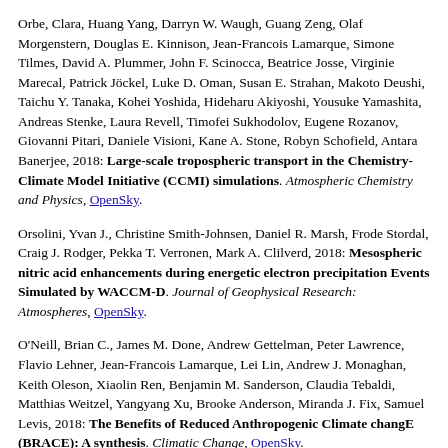Orbe, Clara, Huang Yang, Darryn W. Waugh, Guang Zeng, Olaf Morgenstern, Douglas E. Kinnison, Jean-Francois Lamarque, Simone Tilmes, David A. Plummer, John F. Scinocca, Beatrice Josse, Virginie Marecal, Patrick Jöckel, Luke D. Oman, Susan E. Strahan, Makoto Deushi, Taichu Y. Tanaka, Kohei Yoshida, Hideharu Akiyoshi, Yousuke Yamashita, Andreas Stenke, Laura Revell, Timofei Sukhodolov, Eugene Rozanov, Giovanni Pitari, Daniele Visioni, Kane A. Stone, Robyn Schofield, Antara Banerjee, 2018: Large-scale tropospheric transport in the Chemistry-Climate Model Initiative (CCMI) simulations. Atmospheric Chemistry and Physics, OpenSky.
Orsolini, Yvan J., Christine Smith-Johnsen, Daniel R. Marsh, Frode Stordal, Craig J. Rodger, Pekka T. Verronen, Mark A. Clilverd, 2018: Mesospheric nitric acid enhancements during energetic electron precipitation Events Simulated by WACCM-D. Journal of Geophysical Research: Atmospheres, OpenSky.
O'Neill, Brian C., James M. Done, Andrew Gettelman, Peter Lawrence, Flavio Lehner, Jean-Francois Lamarque, Lei Lin, Andrew J. Monaghan, Keith Oleson, Xiaolin Ren, Benjamin M. Sanderson, Claudia Tebaldi, Matthias Weitzel, Yangyang Xu, Brooke Anderson, Miranda J. Fix, Samuel Levis, 2018: The Benefits of Reduced Anthropogenic Climate changE (BRACE): A synthesis. Climatic Change, OpenSky.